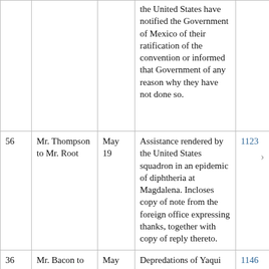| No. | From/To | Date | Subject | Page |
| --- | --- | --- | --- | --- |
|  |  |  | the United States have notified the Government of Mexico of their ratification of the convention or informed that Government of any reason why they have not done so. |  |
| 56 | Mr. Thompson to Mr. Root | May 19 | Assistance rendered by the United States squadron in an epidemic of diphtheria at Magdalena. Incloses copy of note from the foreign office expressing thanks, together with copy of reply thereto. | 1123 |
| 36 | Mr. Bacon to Mr. Thompson | May 23 | Depredations of Yaqui Indians. Incloses letter from Mr. C. W. Burket. | 1146 |